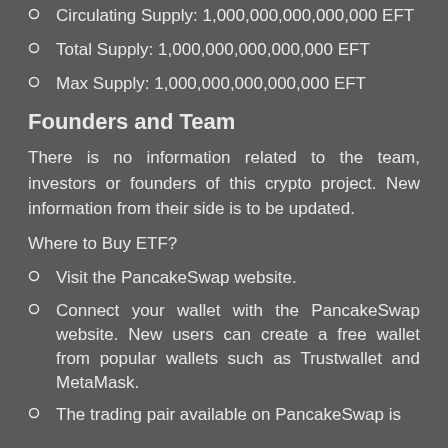Circulating Supply: 1,000,000,000,000,000 EFT
Total Supply: 1,000,000,000,000,000 EFT
Max Supply: 1,000,000,000,000,000 EFT
Founders and Team
There is no information related to the team, investors or founders of this crypto project. New information from their side is to be updated.
Where to Buy ETF?
Visit the PancakeSwap website.
Connect your wallet with the PancakeSwap website. New users can create a free wallet from popular wallets such as Trustwallet and MetaMask.
The trading pair available on PancakeSwap is